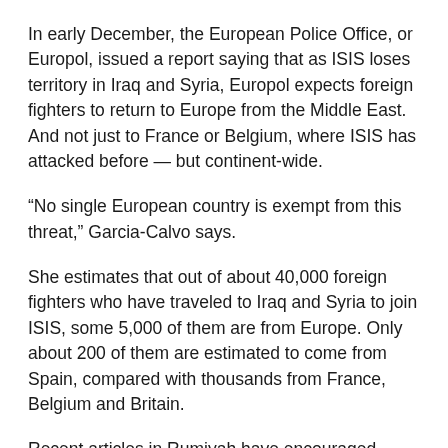In early December, the European Police Office, or Europol, issued a report saying that as ISIS loses territory in Iraq and Syria, Europol expects foreign fighters to return to Europe from the Middle East. And not just to France or Belgium, where ISIS has attacked before — but continent-wide.
“No single European country is exempt from this threat,” Garcia-Calvo says.
She estimates that out of about 40,000 foreign fighters who have traveled to Iraq and Syria to join ISIS, some 5,000 of them are from Europe. Only about 200 of them are estimated to come from Spain, compared with thousands from France, Belgium and Britain.
Recent articles in Rumiyah have encouraged jihadists to attack civilians with commercial vehicles or with knives — weapons that are more difficult for law enforcement to detect than explosives. ISIS